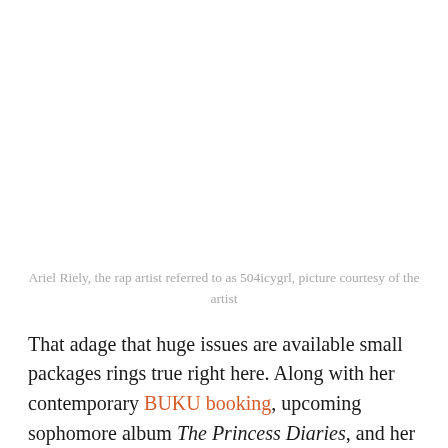Ariel Riely, the rap artist referred to as 504icygrl, picture courtesy of the artist
That adage that huge issues are available small packages rings true right here. Along with her contemporary BUKU booking, upcoming sophomore album The Princess Diaries, and her personal hashish model on the West Coast, the 23-year-old CEO’s attain is way from petite—although her profession is on the shorter finish. Her debut EP Entice Etiquette dropped solely two years in the past and her debut album Zazaland final yr. Whereas rap is a current acquaintance for Riley, the rap recreation isn’t. Her longtime associate,